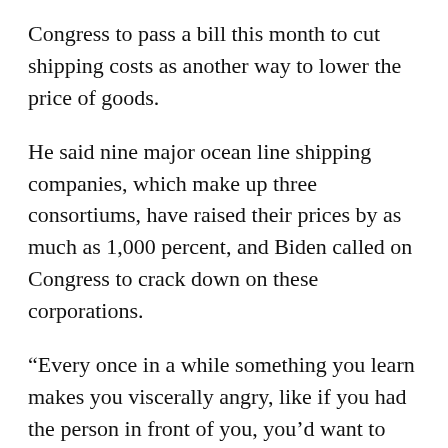Congress to pass a bill this month to cut shipping costs as another way to lower the price of goods.
He said nine major ocean line shipping companies, which make up three consortiums, have raised their prices by as much as 1,000 percent, and Biden called on Congress to crack down on these corporations.
“Every once in a while something you learn makes you viscerally angry, like if you had the person in front of you, you’d want to pop them,” he said, referring to the corporations.
“Let those nine foreign shippers understand, the ripoff is over,” he said.
He touted the administration’s moves to lower the cost of moving goods through the supply chain, including efforts to decongest ports like the Port of Los Angeles